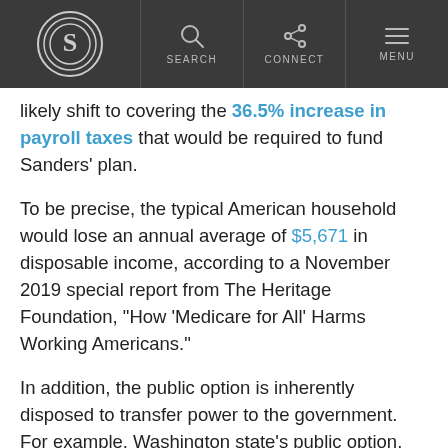S | SEARCH | CONNECT | MENU
likely shift to covering the 36.5% increase in payroll taxes that would be required to fund Sanders’ plan.
To be precise, the typical American household would lose an annual average of $5,671 in disposable income, according to a November 2019 special report from The Heritage Foundation, “How ‘Medicare for All’ Harms Working Americans.”
In addition, the public option is inherently disposed to transfer power to the government. For example, Washington state’s public option, Cascade Care, is only able to maintain lower premiums because the state caps its reimbursement rate at 10% below individual market insurers’ rates.